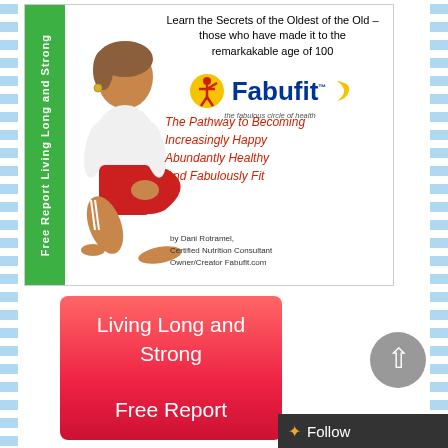[Figure (illustration): Book cover for 'Free Report Living Long and Strong' by Fabufit. Features a green spine with title text vertically, a seated woman in red athletic wear, the Fabufit logo, tagline text in red italic reading 'The Pathway to Becoming Increasingly Happy Abundantly Healthy And Fabulously Fit', and author info 'by Dani Rotramel, Certified Nutrition Consultant, Owner/Creator Fabufit.com'. Header reads 'Learn the Secrets of the Oldest of the Old - those who have made it to the remarkakable age of 100'.]
Living Long and Strong

Free Report